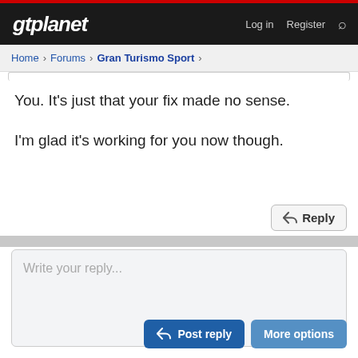gtplanet | Log in | Register
Home > Forums > Gran Turismo Sport >
You. It's just that your fix made no sense.

I'm glad it's working for you now though.
Reply
Write your reply...
Post reply | More options